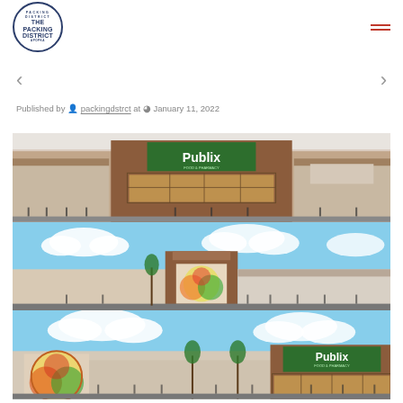[Figure (logo): The Packing District circular logo with text arranged in a circle]
< >
Published by packingdstrct at January 11, 2022
[Figure (illustration): Architectural rendering of Publix grocery store building front elevation view 1]
[Figure (illustration): Architectural rendering of commercial building side/rear elevation view 2]
[Figure (illustration): Architectural rendering of Publix grocery store building front elevation view 3 with mural artwork]